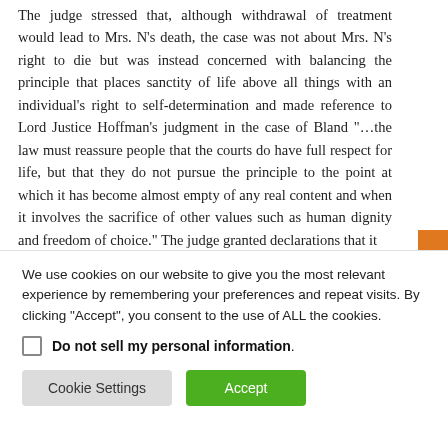The judge stressed that, although withdrawal of treatment would lead to Mrs. N's death, the case was not about Mrs. N's right to die but was instead concerned with balancing the principle that places sanctity of life above all things with an individual's right to self-determination and made reference to Lord Justice Hoffman's judgment in the case of Bland "…the law must reassure people that the courts do have full respect for life, but that they do not pursue the principle to the point at which it has become almost empty of any real content and when it involves the sacrifice of other values such as human dignity and freedom of choice." The judge granted declarations that it
We use cookies on our website to give you the most relevant experience by remembering your preferences and repeat visits. By clicking "Accept", you consent to the use of ALL the cookies.
Do not sell my personal information.